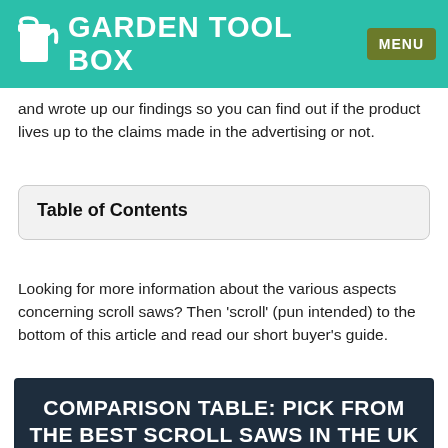GARDEN TOOL BOX | MENU
and wrote up our findings so you can find out if the product lives up to the claims made in the advertising or not.
Table of Contents
Looking for more information about the various aspects concerning scroll saws? Then 'scroll' (pun intended) to the bottom of this article and read our short buyer's guide.
COMPARISON TABLE: PICK FROM THE BEST SCROLL SAWS IN THE UK [SUMMER 2021]